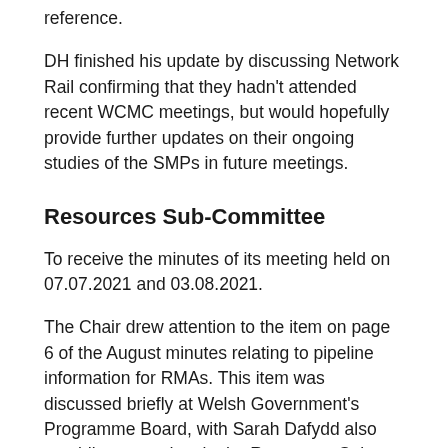reference.
DH finished his update by discussing Network Rail confirming that they hadn’t attended recent WCMC meetings, but would hopefully provide further updates on their ongoing studies of the SMPs in future meetings.
Resources Sub-Committee
To receive the minutes of its meeting held on 07.07.2021 and 03.08.2021.
The Chair drew attention to the item on page 6 of the August minutes relating to pipeline information for RMAs. This item was discussed briefly at Welsh Government’s Programme Board, with Sarah Dafydd also providing an update in the Resources Sub-Committee where the issued had moved on